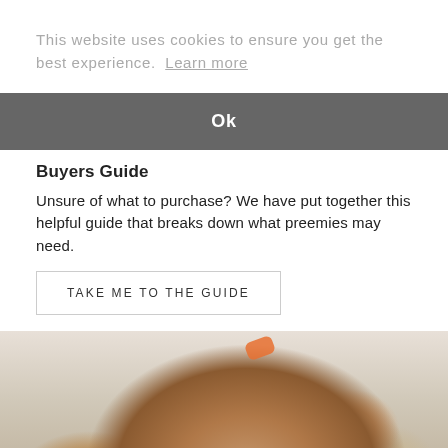This website uses cookies to ensure you get the best experience.  Learn more
Ok
Buyers Guide
Unsure of what to purchase? We have put together this helpful guide that breaks down what preemies may need.
TAKE ME TO THE GUIDE
[Figure (photo): Close-up photo of a premature newborn baby's face and head with an orange medical tube/device visible, and what appears to be a medical eye patch or bandage. The baby's hand is also partially visible.]